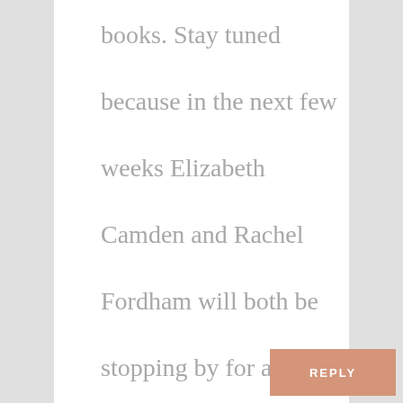books. Stay tuned because in the next few weeks Elizabeth Camden and Rachel Fordham will both be stopping by for a chat and giveaway as well. ☺
REPLY